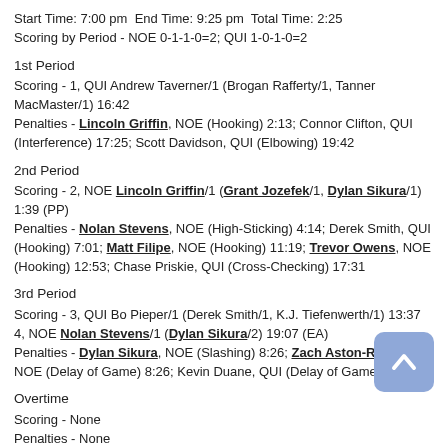Start Time: 7:00 pm  End Time: 9:25 pm  Total Time: 2:25
Scoring by Period - NOE 0-1-1-0=2; QUI 1-0-1-0=2
1st Period
Scoring - 1, QUI Andrew Taverner/1 (Brogan Rafferty/1, Tanner MacMaster/1) 16:42
Penalties - Lincoln Griffin, NOE (Hooking) 2:13; Connor Clifton, QUI (Interference) 17:25; Scott Davidson, QUI (Elbowing) 19:42
2nd Period
Scoring - 2, NOE Lincoln Griffin/1 (Grant Jozefek/1, Dylan Sikura/1) 1:39 (PP)
Penalties - Nolan Stevens, NOE (High-Sticking) 4:14; Derek Smith, QUI (Hooking) 7:01; Matt Filipe, NOE (Hooking) 11:19; Trevor Owens, NOE (Hooking) 12:53; Chase Priskie, QUI (Cross-Checking) 17:31
3rd Period
Scoring - 3, QUI Bo Pieper/1 (Derek Smith/1, K.J. Tiefenwerth/1) 13:37
4, NOE Nolan Stevens/1 (Dylan Sikura/2) 19:07 (EA)
Penalties - Dylan Sikura, NOE (Slashing) 8:26; Zach Aston-Reese, NOE (Delay of Game) 8:26; Kevin Duane, QUI (Delay of Game) 8:26
Overtime
Scoring - None
Penalties - None
Northeastern Goaltending - Ryan Ruck (64:39, 22 shots, 20 saves, 2 GA);